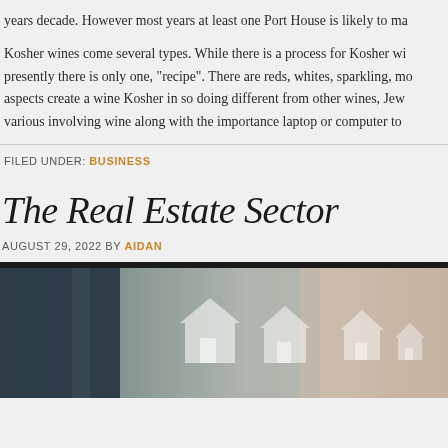years decade. However most years at least one Port House is likely to ma
Kosher wines come several types. While there is a process for Kosher wi presently there is only one, "recipe". There are reds, whites, sparkling, mo aspects create a wine Kosher in so doing different from other wines, Jew various involving wine along with the importance laptop or computer to
FILED UNDER: BUSINESS
The Real Estate Sector
AUGUST 29, 2022 BY AIDAN
[Figure (photo): Real estate themed image with house silhouettes on a light background, dark border on top]